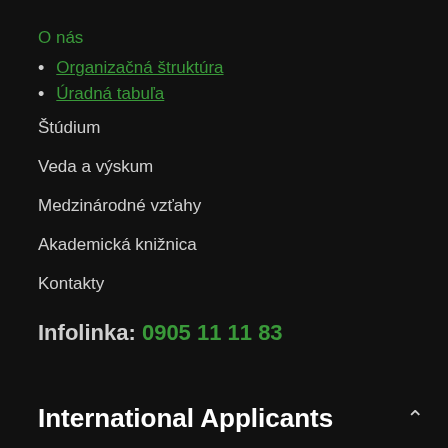O nás
Organizačná štruktúra
Úradná tabuľa
Štúdium
Veda a výskum
Medzinárodné vzťahy
Akademická knižnica
Kontakty
Infolinka: 0905 11 11 83
International Applicants